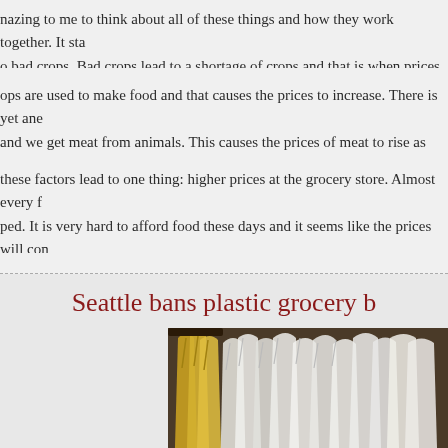nazing to me to think about all of these things and how they work together. It sta o bad crops. Bad crops lead to a shortage of crops and that is when prices rise. T s a demand for them yet there is a shortage of them.
ops are used to make food and that causes the prices to increase. There is yet ane and we get meat from animals. This causes the prices of meat to rise as well. All now it all works.
these factors lead to one thing: higher prices at the grocery store. Almost every f ped. It is very hard to afford food these days and it seems like the prices will con o wisely and reduce wasting of the food that you do have. These things are hard money on groceries.
Seattle bans plastic grocery b
[Figure (photo): Photo of multiple plastic grocery bags, yellow and white/clear bags hanging together]